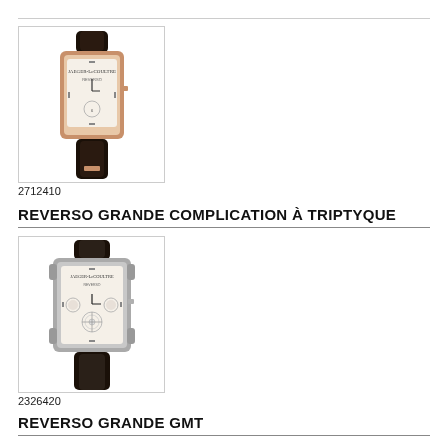[Figure (photo): Luxury watch with rose gold case, white dial, and black leather strap - reference 2712410]
2712410
REVERSO GRANDE COMPLICATION À TRIPTYQUE
[Figure (photo): Luxury watch with silver/steel case, white dial with tourbillon, and black leather strap - reference 2326420]
2326420
REVERSO GRANDE GMT